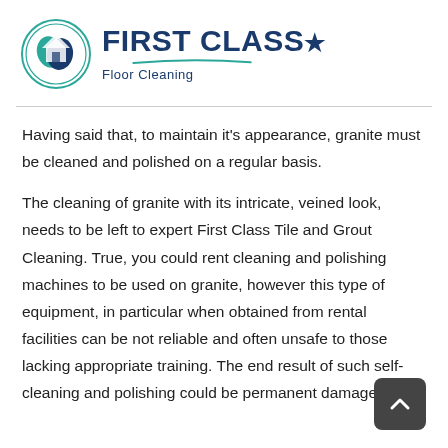[Figure (logo): First Class Floor Cleaning logo with circular icon showing a house and cleaning brush, and company name in dark blue with green swoosh underline]
Having said that, to maintain it's appearance, granite must be cleaned and polished on a regular basis.
The cleaning of granite with its intricate, veined look, needs to be left to expert First Class Tile and Grout Cleaning. True, you could rent cleaning and polishing machines to be used on granite, however this type of equipment, in particular when obtained from rental facilities can be not reliable and often unsafe to those lacking appropriate training. The end result of such self-cleaning and polishing could be permanent damage.